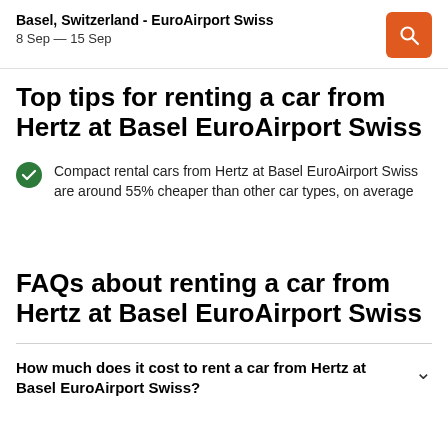Basel, Switzerland - EuroAirport Swiss
8 Sep — 15 Sep
Top tips for renting a car from Hertz at Basel EuroAirport Swiss
Compact rental cars from Hertz at Basel EuroAirport Swiss are around 55% cheaper than other car types, on average
FAQs about renting a car from Hertz at Basel EuroAirport Swiss
How much does it cost to rent a car from Hertz at Basel EuroAirport Swiss?